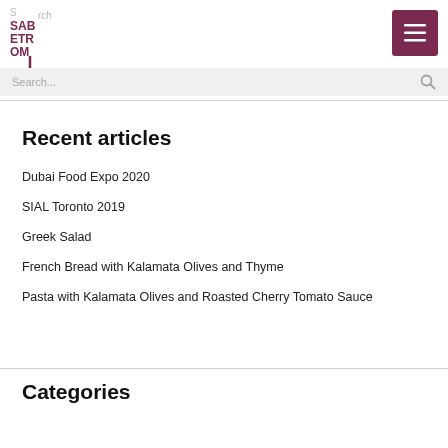[Figure (logo): SABETROM logo — stylized letters SAB/ETR/OM in dark red/maroon with a vertical line]
Search...
Recent articles
Dubai Food Expo 2020
SIAL Toronto 2019
Greek Salad
French Bread with Kalamata Olives and Thyme
Pasta with Kalamata Olives and Roasted Cherry Tomato Sauce
Categories